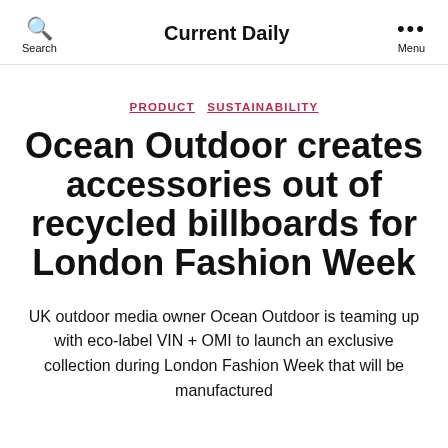Search | Current Daily | Menu
PRODUCT SUSTAINABILITY
Ocean Outdoor creates accessories out of recycled billboards for London Fashion Week
UK outdoor media owner Ocean Outdoor is teaming up with eco-label VIN + OMI to launch an exclusive collection during London Fashion Week that will be manufactured